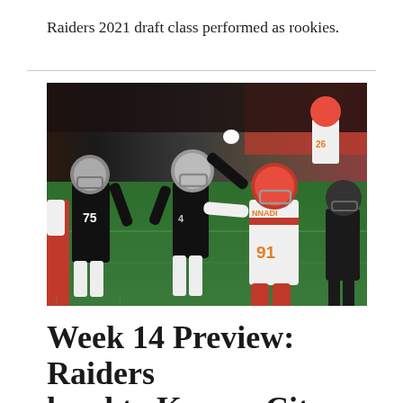Raiders 2021 draft class performed as rookies.
[Figure (photo): Action photo of a Las Vegas Raiders quarterback (wearing black uniform, number 4) being pressured by Kansas City Chiefs defensive player Nnadi (number 91 in white and red uniform) during an NFL game on a green field.]
Week 14 Preview: Raiders head to Kansas City for